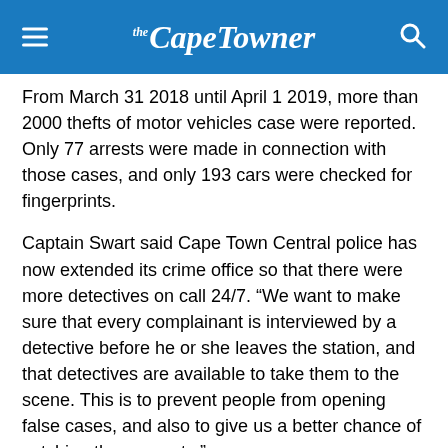the Cape Towner
From March 31 2018 until April 1 2019, more than 2000 thefts of motor vehicles case were reported. Only 77 arrests were made in connection with those cases, and only 193 cars were checked for fingerprints.
Captain Swart said Cape Town Central police has now extended its crime office so that there were more detectives on call 24/7. “We want to make sure that every complainant is interviewed by a detective before he or she leaves the station, and that detectives are available to take them to the scene. This is to prevent people from opening false cases, and also to give us a better chance of catching the suspects.”
Neighbourhood watches and security authorities were warned not to send pictures of suspected criminals who were arrested, to victims of the crime.